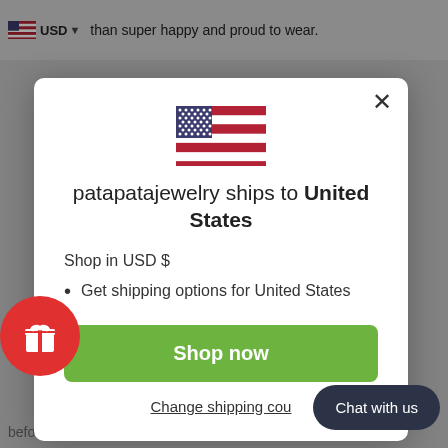than super happy and proud to wear.
[Figure (screenshot): Modal dialog showing patapatajewelry ships to United States with US flag, Shop in USD $, Get shipping options for United States, Shop now button, Change shipping country link, Chat with us button, and a red gift icon button.]
patapatajewelry ships to United States
Shop in USD $
Get shipping options for United States
Shop now
Change shipping cou...
Chat with us
before you choose your favorite shop.